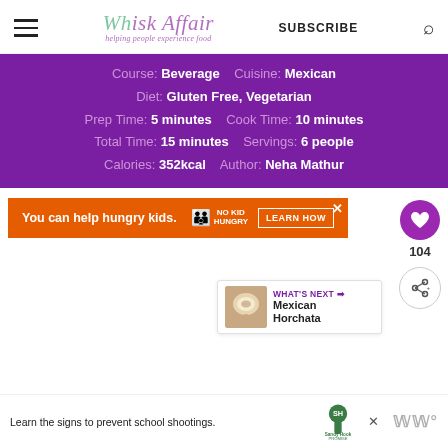Whisk Affair - Helping people experience food | SUBSCRIBE
Course: Beverage   Cuisine: Mexican
Diet: Gluten Free, Vegetarian
Prep Time: 5 minutes   Cook Time: 10 minutes
Total Time: 15 minutes   Servings: 6 people
Calories: 352kcal   Author: Neha Mathur
[Figure (screenshot): Orange advertisement banner: You can help hungry kids. No Kid Hungry. LEARN HOW button. Close X button.]
[Figure (screenshot): Heart/like button (purple circle) with count 104, and share button below.]
[Figure (screenshot): What's Next panel showing Mexican Horchata thumbnail and title.]
[Figure (screenshot): Bottom ad: Learn the signs to prevent school shootings. Sandy Hook Promise logo. Close X button. Watermark WWW degrees symbol.]